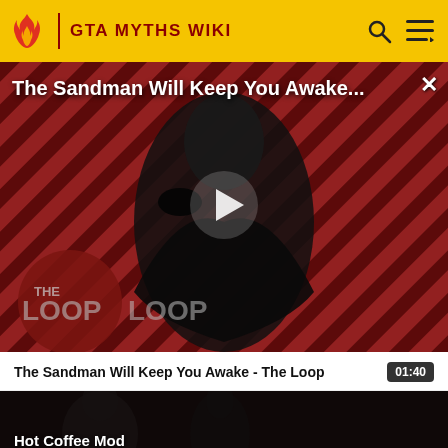GTA MYTHS WIKI
[Figure (screenshot): Video thumbnail for 'The Sandman Will Keep You Awake' showing a dark-cloaked figure against a red and black diagonal striped background with 'THE LOOP' logo. A play button is overlaid in the center.]
The Sandman Will Keep You Awake - The Loop  01:40
[Figure (screenshot): Video thumbnail showing 'Hot Coffee Mod' with two figures in a dimly lit scene. Text reads 'Hot Coffee Mod' and 'GTA Myths Wiki' at the bottom.]